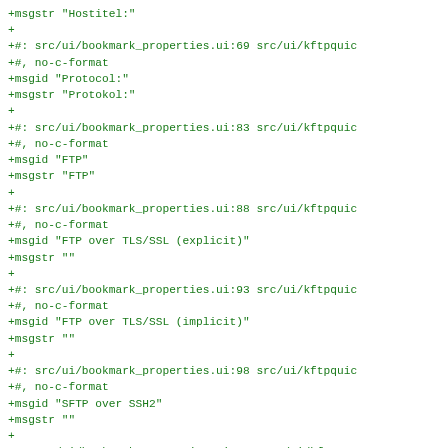+msgstr "Hostitel:"
+
+#: src/ui/bookmark_properties.ui:69 src/ui/kftpquic
+#, no-c-format
+msgid "Protocol:"
+msgstr "Protokol:"
+
+#: src/ui/bookmark_properties.ui:83 src/ui/kftpquic
+#, no-c-format
+msgid "FTP"
+msgstr "FTP"
+
+#: src/ui/bookmark_properties.ui:88 src/ui/kftpquic
+#, no-c-format
+msgid "FTP over TLS/SSL (explicit)"
+msgstr ""
+
+#: src/ui/bookmark_properties.ui:93 src/ui/kftpquic
+#, no-c-format
+msgid "FTP over TLS/SSL (implicit)"
+msgstr ""
+
+#: src/ui/bookmark_properties.ui:98 src/ui/kftpquic
+#, no-c-format
+msgid "SFTP over SSH2"
+msgstr ""
+
+#: src/ui/bookmark_properties.ui:128 src/ui/kftpque
+#: src/ui/kftpqueueeditorlayout.ui:179 src/ui/kftpq
+#: src/ui/kftpsearchlayout.ui:109